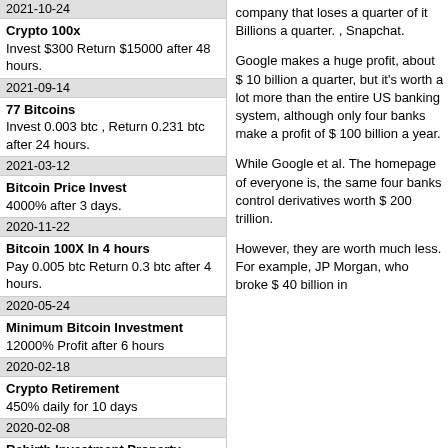2021-10-24
Crypto 100x
Invest $300 Return $15000 after 48 hours.
2021-09-14
77 Bitcoins
Invest 0.003 btc , Return 0.231 btc after 24 hours.
2021-03-12
Bitcoin Price Invest
4000% after 3 days.
2020-11-22
Bitcoin 100X In 4 hours
Pay 0.005 btc Return 0.3 btc after 4 hours.
2020-05-24
Minimum Bitcoin Investment
12000% Profit after 6 hours
2020-02-18
Crypto Retirement
450% daily for 10 days
2020-02-08
Rebirth Investment Property
80% daily for 200 days
2019-10-31
60er Investment
8000% after 6 hours
2019-10-15
Euro Bitcoin Trade
75% daily for 500 days
2019-02-21
Bitwelfare
company that loses a quarter of it Billions a quarter. , Snapchat.
Google makes a huge profit, about $ 10 billion a quarter, but it’s worth a lot more than the entire US banking system, although only four banks make a profit of $ 100 billion a year.
While Google et al. The homepage of everyone is, the same four banks control derivatives worth $ 200 trillion.
However, they are worth much less. For example, JP Morgan, who broke $ 40 billion in